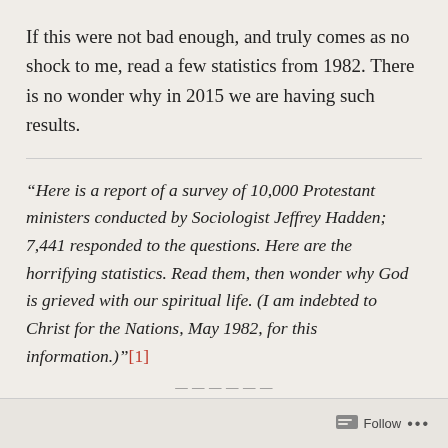If this were not bad enough, and truly comes as no shock to me, read a few statistics from 1982. There is no wonder why in 2015 we are having such results.
“Here is a report of a survey of 10,000 Protestant ministers conducted by Sociologist Jeffrey Hadden; 7,441 responded to the questions. Here are the horrifying statistics. Read them, then wonder why God is grieved with our spiritual life. (I am indebted to Christ for the Nations, May 1982, for this information.)”[1]
Follow